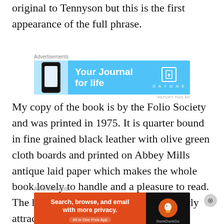original to Tennyson but this is the first appearance of the full phrase.
[Figure (other): Advertisement banner for Day One journal app with blue background, phone image, text 'Your Journal for life' and Day One logo]
My copy of the book is by the Folio Society and was printed in 1975. It is quarter bound in fine grained black leather with olive green cloth boards and printed on Abbey Mills antique laid paper which makes the whole book lovely to handle and a pleasure to read. The headings to the cantos are particularly attractive and the
[Figure (other): Advertisement banner for DuckDuckGo app with orange/dark background, text 'Search, browse, and email with more privacy. All in One Free App']